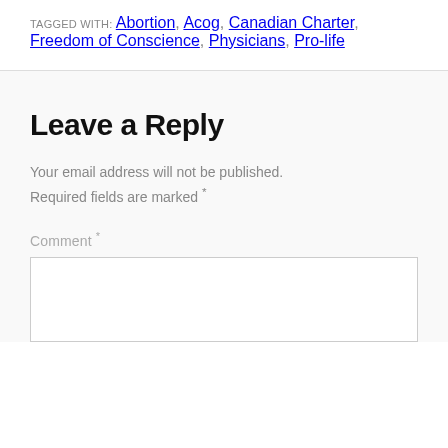TAGGED WITH: ABORTION, ACOG, CANADIAN CHARTER, FREEDOM OF CONSCIENCE, PHYSICIANS, PRO-LIFE
Leave a Reply
Your email address will not be published. Required fields are marked *
Comment *